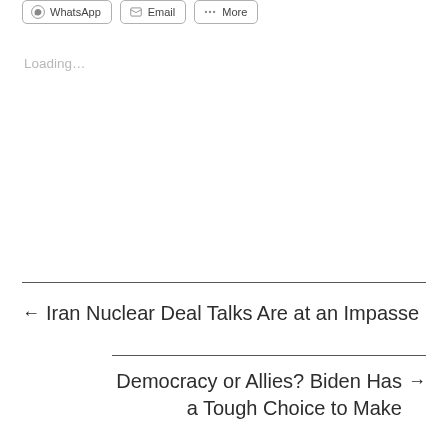[Figure (screenshot): Row of share buttons: WhatsApp, Email, More]
Loading…
← Iran Nuclear Deal Talks Are at an Impasse
Democracy or Allies? Biden Has a Tough Choice to Make →